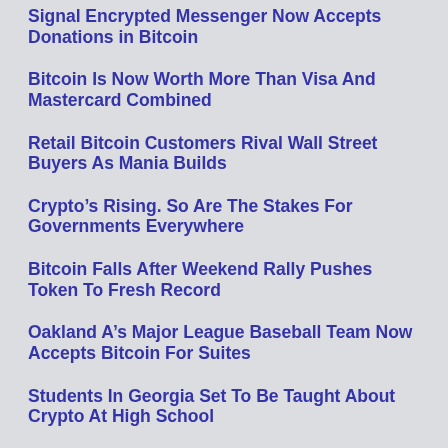Signal Encrypted Messenger Now Accepts Donations in Bitcoin
Bitcoin Is Now Worth More Than Visa And Mastercard Combined
Retail Bitcoin Customers Rival Wall Street Buyers As Mania Builds
Crypto’s Rising. So Are The Stakes For Governments Everywhere
Bitcoin Falls After Weekend Rally Pushes Token To Fresh Record
Oakland A’s Major League Baseball Team Now Accepts Bitcoin For Suites
Students In Georgia Set To Be Taught About Crypto At High School